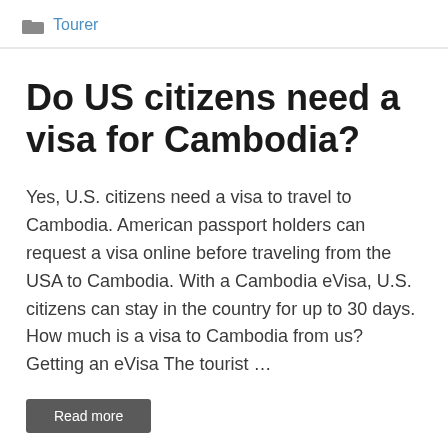Tourer
Do US citizens need a visa for Cambodia?
Yes, U.S. citizens need a visa to travel to Cambodia. American passport holders can request a visa online before traveling from the USA to Cambodia. With a Cambodia eVisa, U.S. citizens can stay in the country for up to 30 days. How much is a visa to Cambodia from us? Getting an eVisa The tourist …